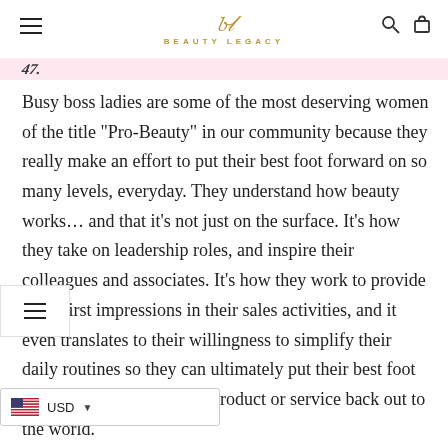BEAUTY LEGACY
Busy boss ladies are some of the most deserving women of the title “Pro-Beauty” in our community because they really make an effort to put their best foot forward on so many levels, everyday. They understand how beauty works… and that it’s not just on the surface. It's how they take on leadership roles, and inspire their colleagues and associates. It’s how they work to provide great first impressions in their sales activities, and it even translates to their willingness to simplify their daily routines so they can ultimately put their best foot forward providing a great product or service back out to the world.